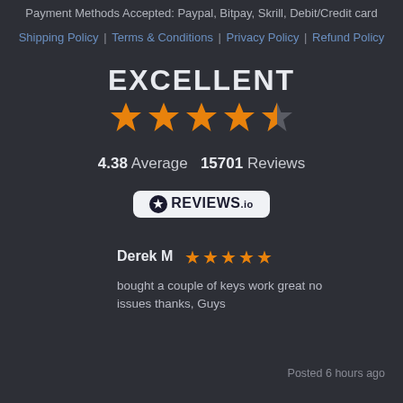Payment Methods Accepted: Paypal, Bitpay, Skrill, Debit/Credit card
Shipping Policy | Terms & Conditions | Privacy Policy | Refund Policy
EXCELLENT
[Figure (other): 5-star rating display showing 4 full orange stars and 1 half orange star]
4.38 Average   15701 Reviews
[Figure (logo): REVIEWS.io badge logo on white/light background]
Derek M ★★★★★
bought a couple of keys work great no issues thanks, Guys
Posted 6 hours ago